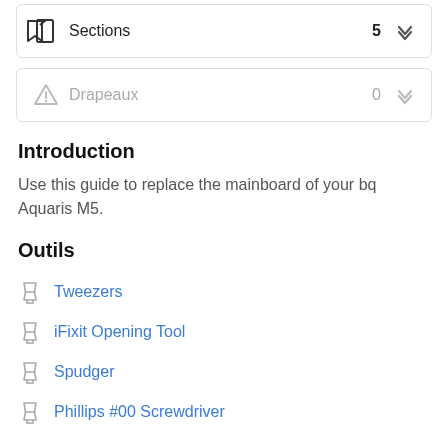[Figure (screenshot): Sections card with bookmark icon, count 5, and chevron expand button]
[Figure (screenshot): Drapeaux card with warning triangle icon (grayed out), count 0, and chevron expand button]
Introduction
Use this guide to replace the mainboard of your bq Aquaris M5.
Outils
Tweezers
iFixit Opening Tool
Spudger
Phillips #00 Screwdriver